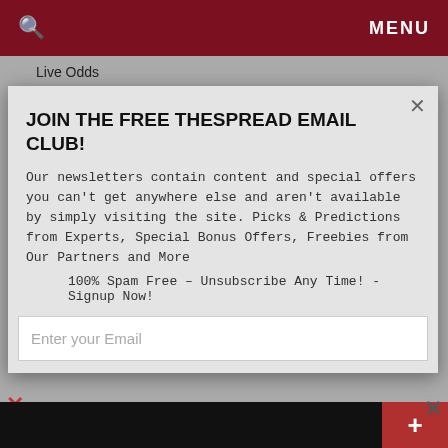MENU
Live Odds
JOIN THE FREE THESPREAD EMAIL CLUB!
Our newsletters contain content and special offers you can't get anywhere else and aren't available by simply visiting the site. Picks & Predictions from Experts, Special Bonus Offers, Freebies from Our Partners and More
100% Spam Free – Unsubscribe Any Time! - Signup Now!
Enter your Email
[Figure (screenshot): Advertisement showing in-store shopping with logo circle, checkmark, and navigation arrow icon]